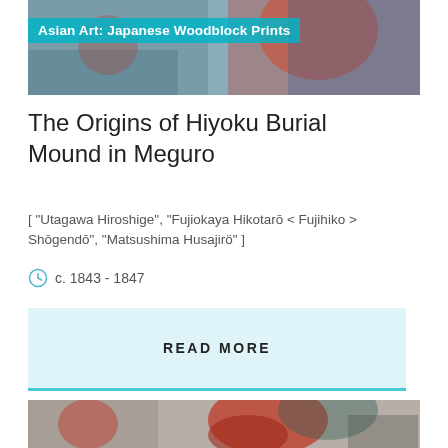[Figure (photo): Banner image of Japanese woodblock print artwork with colorful figures]
Asian Art: Japanese Woodblock Prints
The Origins of Hiyoku Burial Mound in Meguro
[ "Utagawa Hiroshige", "Fujiokaya Hikotarō < Fujihiko > Shōgendō", "Matsushima Husajirö" ]
c. 1843 - 1847
READ MORE
[Figure (photo): Japanese woodblock print showing a woman in red kimono with dark hair]